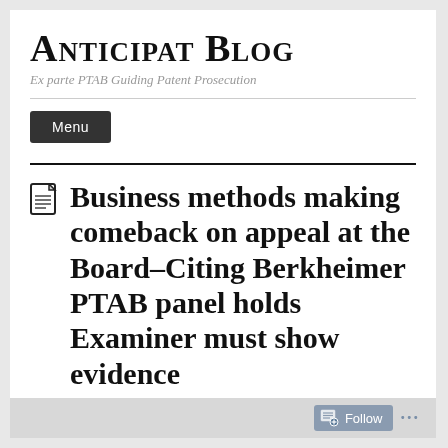Anticipat Blog
Ex parte PTAB Guiding Patent Prosecution
Menu
Business methods making comeback on appeal at the Board–Citing Berkheimer PTAB panel holds Examiner must show evidence
March 23, 2018  By  Admin  in  Blog posts  Tags:  101 - NONSTATUTORY SUBJECT MATTER, ABSTRACT IDEA   Leave a comment
Follow ...